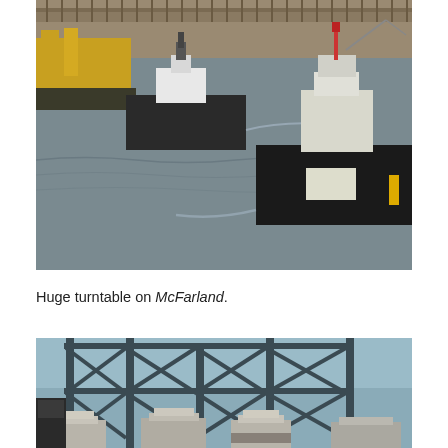[Figure (photo): Aerial or elevated view of two tugboats on a waterway, with industrial barge and dock structures visible in the background. One tugboat is in the upper left, the other larger tug is in the lower right foreground. Water shows grey tones, dock area visible at top.]
Huge turntable on McFarland.
[Figure (photo): Close-up photo of a large industrial turntable structure on the vessel McFarland, showing heavy steel lattice crane or gantry framework above, with cylindrical concrete or steel turntable pedestals visible on deck.]